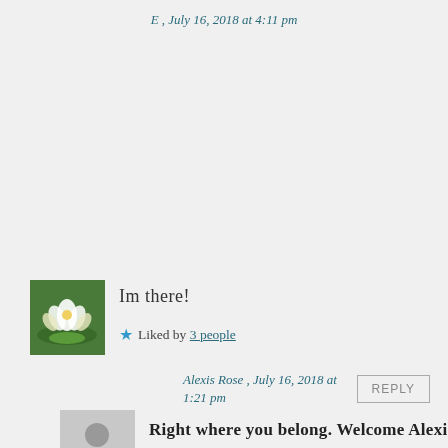E , July 16, 2018 at 4:11 pm
Im there!
Liked by 3 people
Alexis Rose , July 16, 2018 at 1:21 pm
Right where you belong. Welcome Alexis. ❤
Liked by 1 person
E , July 16, 2018 at 1:23 pm